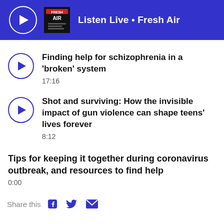Listen Live • Fresh Air
Finding help for schizophrenia in a ‘broken’ system
17:16
Shot and surviving: How the invisible impact of gun violence can shape teens’ lives forever
8:12
Tips for keeping it together during coronavirus outbreak, and resources to find help
0:00
Share this